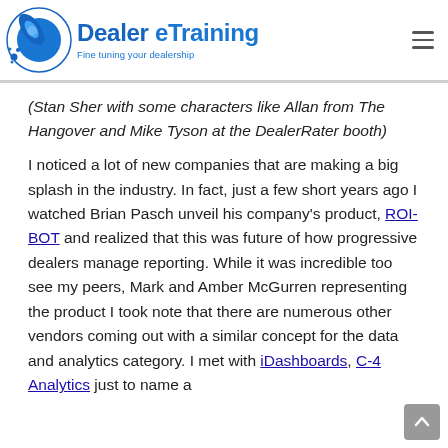[Figure (logo): Dealer eTraining logo — blue planet/rocket icon with text 'Dealer eTraining' and subtitle 'Fine tuning your dealership']
(Stan Sher with some characters like Allan from The Hangover and Mike Tyson at the DealerRater booth)
I noticed a lot of new companies that are making a big splash in the industry. In fact, just a few short years ago I watched Brian Pasch unveil his company's product, ROI-BOT and realized that this was future of how progressive dealers manage reporting. While it was incredible too see my peers, Mark and Amber McGurren representing the product I took note that there are numerous other vendors coming out with a similar concept for the data and analytics category. I met with iDashboards, C-4 Analytics just to name a